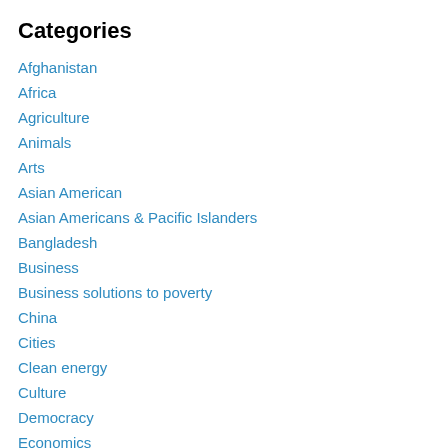Categories
Afghanistan
Africa
Agriculture
Animals
Arts
Asian American
Asian Americans & Pacific Islanders
Bangladesh
Business
Business solutions to poverty
China
Cities
Clean energy
Culture
Democracy
Economics
Education
Environment